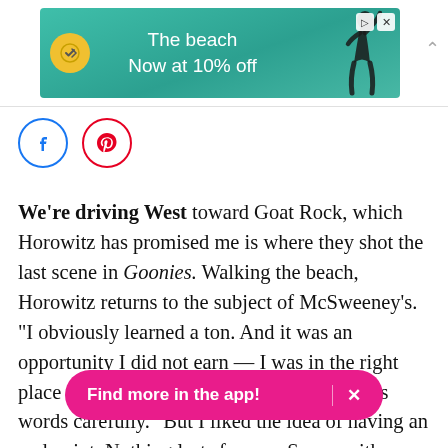[Figure (screenshot): Advertisement banner showing 'The beach Now at 10% off' with a travel icon logo on green/teal background and a figure of a person]
[Figure (infographic): Social sharing icons: Facebook (blue circle with f) and Pinterest (red circle with P)]
We're driving West toward Goat Rock, which Horowitz has promised me is where they shot the last scene in Goonies. Walking the beach, Horowitz returns to the subject of McSweeney's. “I obviously learned a ton. And it was an opportunity I did not earn — I was in the right place at the right time,” he says, choosing his words carefully. “But I liked the idea of having an end point. Nothing lasts forever. So you either pick when it dies, or we just let it slowly become inevi[...] very hard there. But it w[...][obscured]
[Figure (screenshot): Pink pill-shaped banner reading 'Find more in the app!' with an X close button]